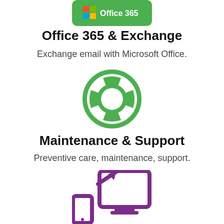[Figure (logo): Office 365 green rounded rectangle logo with Microsoft Office icon and text 'Office 365']
Office 365 & Exchange
Exchange email with Microsoft Office.
[Figure (illustration): Green lifesaver / lifebuoy ring icon]
Maintenance & Support
Preventive care, maintenance, support.
[Figure (illustration): Purple icon showing devices (phone, tablet, monitor) with an arrow indicating migration or connectivity]